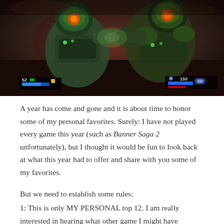[Figure (screenshot): A screenshot from a video game (appears to be DOOM) showing two armored figures in green mech suits, one grabbing the other. HUD elements visible including health bar showing 52, ammo counter showing 150, and blue UI bars.]
A year has come and gone and it is about time to honor some of my personal favorites. Surely: I have not played every game this year (such as Banner Saga 2 unfortunately), but I thought it would be fun to look back at what this year had to offer and share with you some of my favorites.
But we need to establish some rules:
1: This is only MY PERSONAL top 12. I am really interested in hearing what other game I might have...